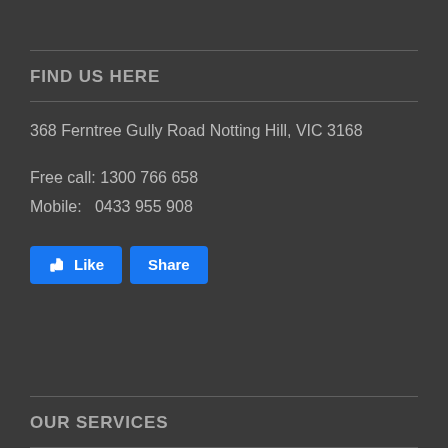FIND US HERE
368 Ferntree Gully Road Notting Hill, VIC 3168
Free call: 1300 766 658
Mobile:   0433 955 908
[Figure (other): Facebook Like and Share buttons]
OUR SERVICES